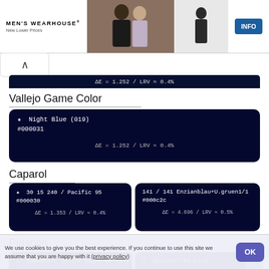[Figure (screenshot): Men's Wearhouse advertisement banner with couple in formal wear and info button]
ΔE = 1.252 / LRV ≈ 0.4%
Vallejo Game Color
★ Night Blue (019)
#000031
ΔE = 1.252 / LRV ≈ 0.4%
Caparol
★ 30 15 240 / Pacific 95
#000030
ΔE = 1.353 / LRV ≈ 0.4%
141 / 141 Enzianblau+U.gruen1/1
#000c2c
ΔE = 4.696 / LRV ≈ 0.5%
Plascon
★ Somewhere in the Night B6-E1-1
★ Splinter B4-E1-1
We use cookies to give you the best experience. If you continue to use this site we assume that you are happy with it (privacy policy)